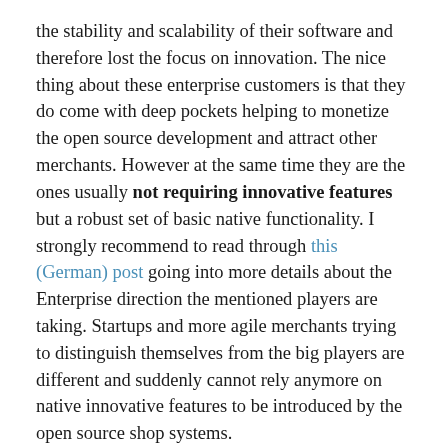the stability and scalability of their software and therefore lost the focus on innovation. The nice thing about these enterprise customers is that they do come with deep pockets helping to monetize the open source development and attract other merchants. However at the same time they are the ones usually not requiring innovative features but a robust set of basic native functionality. I strongly recommend to read through this (German) post going into more details about the Enterprise direction the mentioned players are taking. Startups and more agile merchants trying to distinguish themselves from the big players are different and suddenly cannot rely anymore on native innovative features to be introduced by the open source shop systems.
And here we are right in the e-commerce innovation